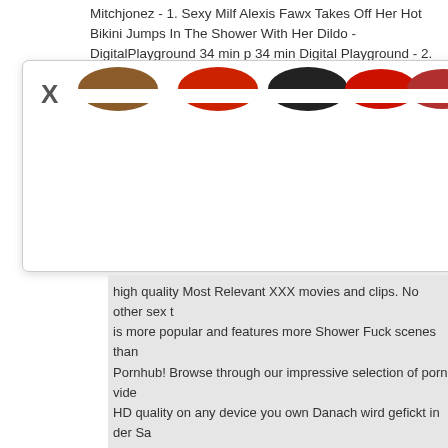Mitchjonez - 1. Sexy Milf Alexis Fawx Takes Off Her Hot Bikini Jumps In The Shower With Her Dildo - DigitalPlayground 34 min p 34 min Digital Playground - 2.
[Figure (screenshot): A modal popup with a close X button and a row of partial circular image thumbnails (showing tops of heads) on a white background, with partial text visible on the right side.]
high quality Most Relevant XXX movies and clips. No other sex t is more popular and features more Shower Fuck scenes than Pornhub! Browse through our impressive selection of porn vide HD quality on any device you own Danach wird gefickt in der Sa 2 Bi Girls - horny shower games and fuck in the Sauna. k min - p. Girls Get Wet Girls Get Wet - Australian b...